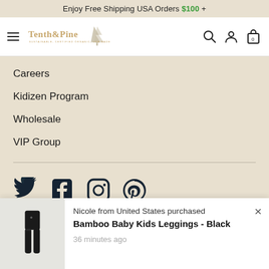Enjoy Free Shipping USA Orders $100 +
[Figure (logo): Tenth & Pine logo with tree icon and tagline 'Sustainable, Certified Organic, USA Made']
Careers
Kidizen Program
Wholesale
VIP Group
[Figure (infographic): Social media icons row: Twitter, Facebook, Instagram, Pinterest]
Nicole from United States purchased
Bamboo Baby Kids Leggings - Black
36 minutes ago